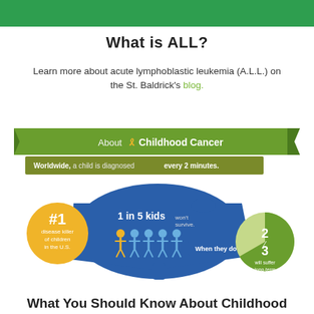What is ALL?
Learn more about acute lymphoblastic leukemia (A.L.L.) on the St. Baldrick's blog.
[Figure (infographic): Infographic about childhood cancer statistics. Banner reads 'About Childhood Cancer'. Text states 'Worldwide, a child is diagnosed every 2 minutes.' Yellow circle: '#1 disease killer of children in the U.S.' Blue US map with '1 in 5 kids won't survive.' icons. Blue box: 'When they do'. Green pie chart showing '2/3 will suffer long-term effects.']
What You Should Know About Childhood...